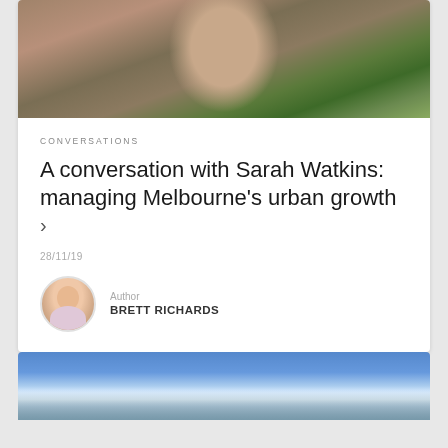[Figure (photo): Portrait photo of a woman with long brown hair wearing a grey v-neck t-shirt and necklace, standing outdoors with foliage in the background]
CONVERSATIONS
A conversation with Sarah Watkins: managing Melbourne's urban growth >
28/11/19
Author
BRETT RICHARDS
[Figure (photo): Photo of blue sky with white clouds at the bottom of the page]